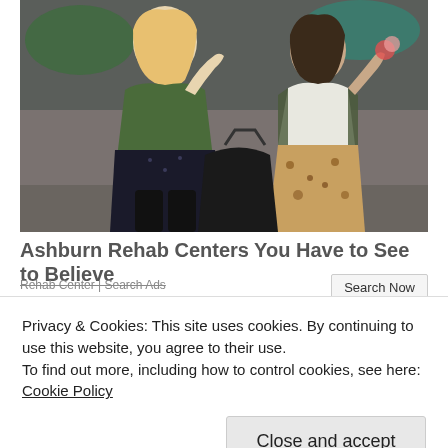[Figure (photo): Two young women standing outdoors near a graffiti wall. One has long blonde hair wearing a green army jacket and dark outfit; the other has dark hair wearing camouflage jacket and leopard print skirt, holding an ice cream. A large black bag is on the ground between them.]
Ashburn Rehab Centers You Have to See to Believe
Rehab Center | Search Ads
Search Now
Privacy & Cookies: This site uses cookies. By continuing to use this website, you agree to their use.
To find out more, including how to control cookies, see here: Cookie Policy
Close and accept
[Figure (photo): Partial view of a car and legs/shoes of a person, bottom of page.]